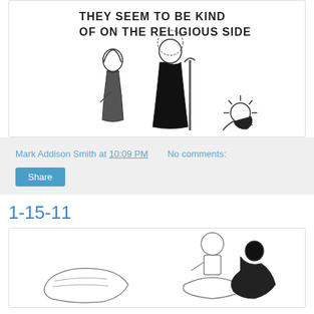[Figure (illustration): Hand-drawn cartoon showing two religious figures (one in robe with staff, one in dark cloak) and a small glowing baby figure on the ground. Text at top reads: THEY SEEM TO BE KIND OF ON THE RELIGIOUS SIDE]
Mark Addison Smith at 10:09 PM    No comments:
Share
1-15-11
[Figure (illustration): Partial hand-drawn cartoon showing a figure on what appears to be a large animal or object, with another dark figure nearby, cut off at bottom of page]